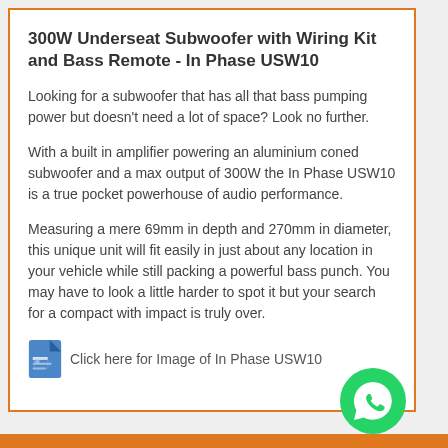300W Underseat Subwoofer with Wiring Kit and Bass Remote - In Phase USW10
Looking for a subwoofer that has all that bass pumping power but doesn't need a lot of space? Look no further.
With a built in amplifier powering an aluminium coned subwoofer and a max output of 300W the In Phase USW10 is a true pocket powerhouse of audio performance.
Measuring a mere 69mm in depth and 270mm in diameter, this unique unit will fit easily in just about any location in your vehicle while still packing a powerful bass punch. You may have to look a little harder to spot it but your search for a compact with impact is truly over.
Click here for Image of In Phase USW10